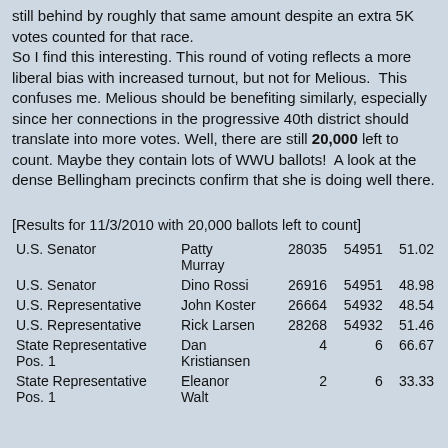still behind by roughly that same amount despite an extra 5K votes counted for that race. So I find this interesting. This round of voting reflects a more liberal bias with increased turnout, but not for Melious. This confuses me. Melious should be benefiting similarly, especially since her connections in the progressive 40th district should translate into more votes. Well, there are still 20,000 left to count. Maybe they contain lots of WWU ballots! A look at the dense Bellingham precincts confirm that she is doing well there.
[Results for 11/3/2010 with 20,000 ballots left to count]
|  |  |  |  |  |
| --- | --- | --- | --- | --- |
| U.S. Senator | Patty Murray | 28035 | 54951 | 51.02 |
| U.S. Senator | Dino Rossi | 26916 | 54951 | 48.98 |
| U.S. Representative | John Koster | 26664 | 54932 | 48.54 |
| U.S. Representative | Rick Larsen | 28268 | 54932 | 51.46 |
| State Representative Pos. 1 | Dan Kristiansen | 4 | 6 | 66.67 |
| State Representative Pos. 1 | Eleanor Walt | 2 | 6 | 33.33 |